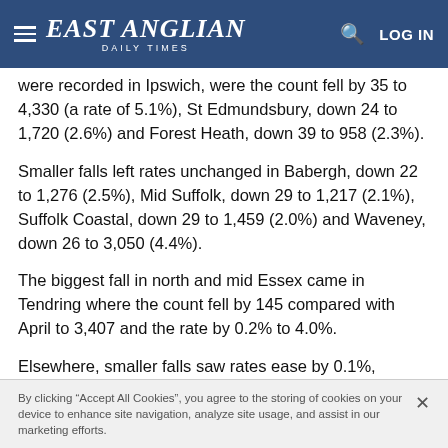EAST ANGLIAN DAILY TIMES
were recorded in Ipswich, were the count fell by 35 to 4,330 (a rate of 5.1%), St Edmundsbury, down 24 to 1,720 (2.6%) and Forest Heath, down 39 to 958 (2.3%).
Smaller falls left rates unchanged in Babergh, down 22 to 1,276 (2.5%), Mid Suffolk, down 29 to 1,217 (2.1%), Suffolk Coastal, down 29 to 1,459 (2.0%) and Waveney, down 26 to 3,050 (4.4%).
The biggest fall in north and mid Essex came in Tendring where the count fell by 145 compared with April to 3,407 and the rate by 0.2% to 4.0%.
Elsewhere, smaller falls saw rates ease by 0.1%, including Braintree, down 55 to 2,554 (2.8%),
By clicking “Accept All Cookies”, you agree to the storing of cookies on your device to enhance site navigation, analyze site usage, and assist in our marketing efforts.